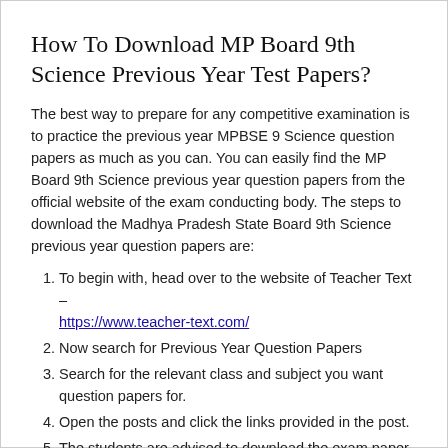How To Download MP Board 9th Science Previous Year Test Papers?
The best way to prepare for any competitive examination is to practice the previous year MPBSE 9 Science question papers as much as you can. You can easily find the MP Board 9th Science previous year question papers from the official website of the exam conducting body. The steps to download the Madhya Pradesh State Board 9th Science previous year question papers are:
To begin with, head over to the website of Teacher Text – https://www.teacher-text.com/
Now search for Previous Year Question Papers
Search for the relevant class and subject you want question papers for.
Open the posts and click the links provided in the post.
The students are advised to download the exam paper and take a print out if they wish to practice the same offline.